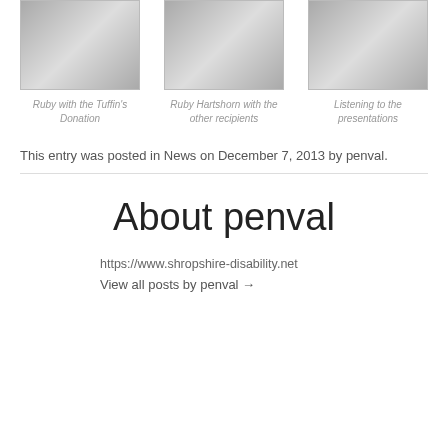[Figure (photo): Ruby with the Tuffin's Donation]
Ruby with the Tuffin's Donation
[Figure (photo): Ruby Hartshorn with the other recipients]
Ruby Hartshorn with the other recipients
[Figure (photo): Listening to the presentations]
Listening to the presentations
This entry was posted in News on December 7, 2013 by penval.
About penval
https://www.shropshire-disability.net
View all posts by penval →